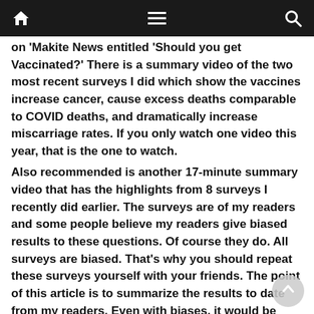Navigation bar with home, menu, and search icons
on 'Makite News entitled 'Should you get Vaccinated?' There is a summary video of the two most recent surveys I did which show the vaccines increase cancer, cause excess deaths comparable to COVID deaths, and dramatically increase miscarriage rates. If you only watch one video this year, that is the one to watch.
Also recommended is another 17-minute summary video that has the highlights from 8 surveys I recently did earlier. The surveys are of my readers and some people believe my readers give biased results to these questions. Of course they do. All surveys are biased. That's why you should repeat these surveys yourself with your friends. The point of this article is to summarize the results to date from my readers. Even with biases, it would be hard to overcome a signal this large.
For example, how do you explain an embalmer where over 90% of her cases had severe blood clots if the vaccines are